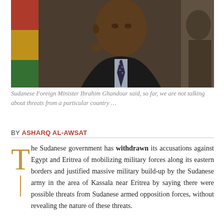[Figure (photo): Sudanese Foreign Minister Ibrahim Ghandour photographed at a formal event, wearing a dark suit and tie, in front of flags.]
Sudanese Foreign Minister Ibrahim Ghandour said, so far, we are not talking about threats from a particular country …
BY ASHARQ AL-AWSAT
The Sudanese government has withdrawn its accusations against Egypt and Eritrea of mobilizing military forces along its eastern borders and justified massive military build-up by the Sudanese army in the area of Kassala near Eritrea by saying there were possible threats from Sudanese armed opposition forces, without revealing the nature of these threats.